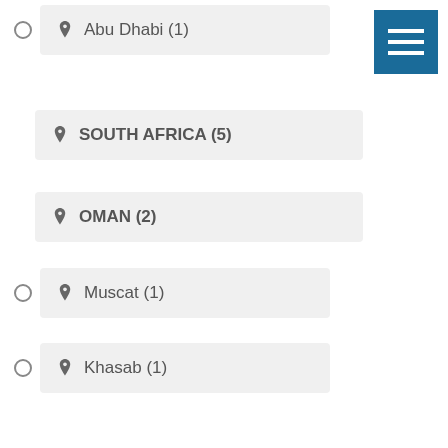Abu Dhabi (1)
SOUTH AFRICA (5)
OMAN (2)
Muscat (1)
Khasab (1)
Morocco (1)
Malawi (2)
[Figure (screenshot): Blue hamburger menu button with three white horizontal lines in top-right corner]
Recent Posts (partially visible handwritten style heading at bottom)